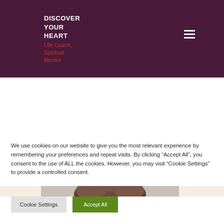DISCOVER YOUR HEART Life Coach, Spiritual Mentor
[Figure (photo): Top portion of a person's head showing brown hair, partially visible, on a peach/cream background.]
We use cookies on our website to give you the most relevant experience by remembering your preferences and repeat visits. By clicking “Accept All”, you consent to the use of ALL the cookies. However, you may visit "Cookie Settings" to provide a controlled consent.
Cookie Settings | Accept All